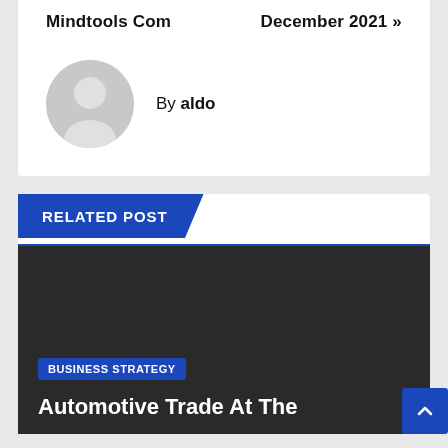Mindtools Com
December 2021 »
By aldo
RELATED POST
BUSINESS STRATEGY
Automotive Trade At The